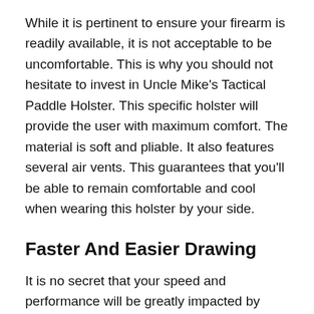While it is pertinent to ensure your firearm is readily available, it is not acceptable to be uncomfortable. This is why you should not hesitate to invest in Uncle Mike's Tactical Paddle Holster. This specific holster will provide the user with maximum comfort. The material is soft and pliable. It also features several air vents. This guarantees that you'll be able to remain comfortable and cool when wearing this holster by your side.
Faster And Easier Drawing
It is no secret that your speed and performance will be greatly impacted by your holster of choice. This is one of the main reasons you need to check out Uncle Mike's Holster. With this product, you will be able to draw your weapon with unimaginable speeds. The holster helps to diminish the body's lead edge and this will make drawing